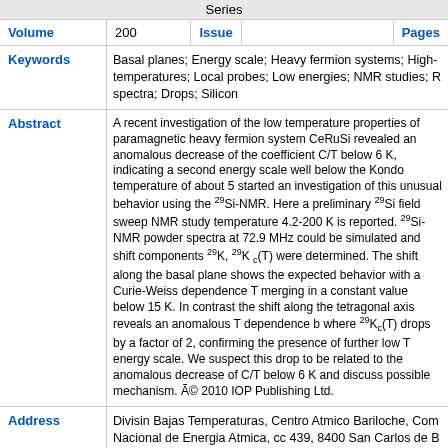Series
| Volume | Issue | Pages |
| --- | --- | --- |
| 200 |  |  |
Keywords: Basal planes; Energy scale; Heavy fermion systems; High-temperatures; Local probes; Low energies; NMR studies; spectra; Drops; Silicon
Abstract: A recent investigation of the low temperature properties of paramagnetic heavy fermion system CeRuSi revealed an anomalous decrease of the coefficient C/T below 6 K, indicating a second energy scale well below the Kondo temperature of about 5... started an investigation of this unusual behavior using the 29Si-NMR. Here a preliminary 29Si field sweep NMR study temperature 4.2-200 K is reported. 29Si-NMR powder spectra at 72.9 MHz could be simulated and shift components 29K, 29K_c(T) were determined. The shift along the basal plane shows the expected behavior with a Curie-Weiss dependence T merging in a constant value below 15 K. In contrast the shift along the tetragonal axis reveals an anomalous T dependence below where 29K_c(T) drops by a factor of 2, confirming the presence of further low T energy scale. We suspect this drop to be related to the anomalous decrease of C/T below 6 K and discuss possible mechanism. © 2010 IOP Publishing Ltd.
Address: Divisin Bajas Temperaturas, Centro Atmico Bariloche, Comision Nacional de Energia Atmica, cc 439, 8400 San Carlos de Bariloche, Argentina
Corporate Author / Thesis